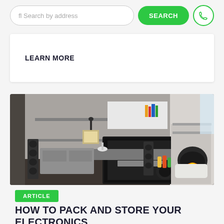[Figure (screenshot): Search bar with text input 'fl Search by address', a green SEARCH button, and a green phone icon button]
LEARN MORE
[Figure (photo): Living room with entertainment system, TV, speakers, shelves with books, and a modern fireplace]
ARTICLE
HOW TO PACK AND STORE YOUR ELECTRONICS